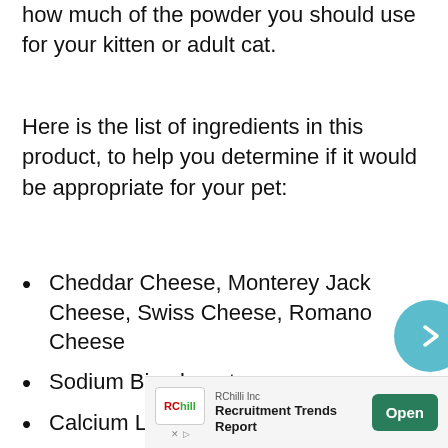how much of the powder you should use for your kitten or adult cat.
Here is the list of ingredients in this product, to help you determine if it would be appropriate for your pet:
Cheddar Cheese, Monterey Jack Cheese, Swiss Cheese, Romano Cheese
Sodium Bicarbonate
Calcium Lactate
Potassium Citrate
Salt
Al...
[Figure (other): Navigation arrow circle (light blue) with right-pointing chevron]